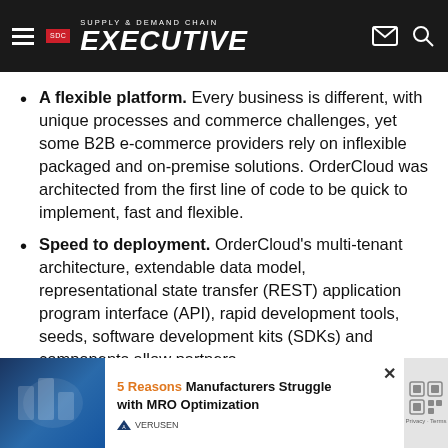SDC Supply & Demand Chain Executive
A flexible platform. Every business is different, with unique processes and commerce challenges, yet some B2B e-commerce providers rely on inflexible packaged and on-premise solutions. OrderCloud was architected from the first line of code to be quick to implement, fast and flexible.
Speed to deployment. OrderCloud's multi-tenant architecture, extendable data model, representational state transfer (REST) application program interface (API), rapid development tools, seeds, software development kits (SDKs) and components allow partners and customers to build and deploy complete commerce experiences on OrderCloud's
[Figure (infographic): Advertisement overlay: '5 Reasons Manufacturers Struggle with MRO Optimization' by Verusen, with close button and reCAPTCHA widget]